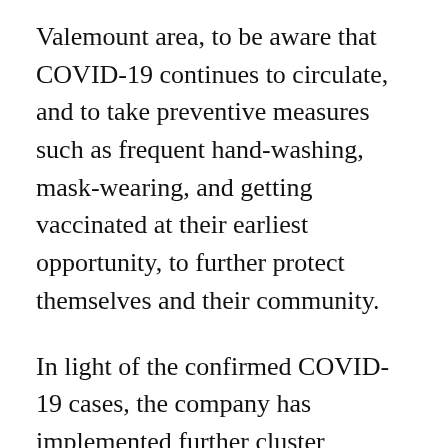Valemount area, to be aware that COVID-19 continues to circulate, and to take preventive measures such as frequent hand-washing, mask-wearing, and getting vaccinated at their earliest opportunity, to further protect themselves and their community.
In light of the confirmed COVID-19 cases, the company has implemented further cluster management measures, enhanced employee screening, mandatory mask-wearing, and increased sanitization across the site.
Northern Health and Trans Mountain have